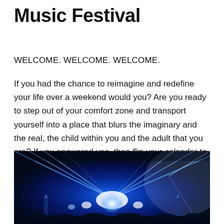Music Festival
WELCOME. WELCOME. WELCOME.
If you had the chance to reimagine and redefine your life over a weekend would you? Are you ready to step out of your comfort zone and transport yourself into a place that blurs the imaginary and the real, the child within you and the adult that you are? If you answered yes, then flip your calendar to 2015 and mark down next year’s Shambhala Music Festival.
[Figure (photo): Concert photo showing a DJ or performer with bright blue laser lights and spotlights illuminating a stage in a dark venue]